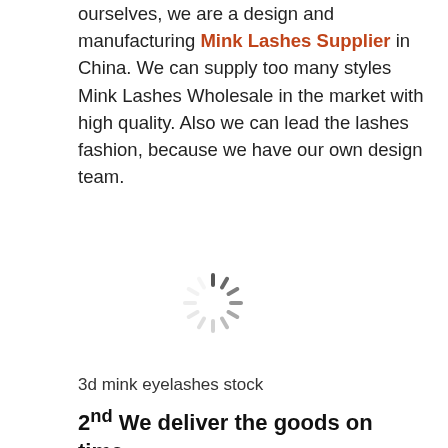ourselves, we are a design and manufacturing Mink Lashes Supplier in China. We can supply too many styles Mink Lashes Wholesale in the market with high quality. Also we can lead the lashes fashion, because we have our own design team.
[Figure (other): Loading spinner / throbber icon (animated loading indicator)]
3d mink eyelashes stock
2nd We deliver the goods on time.
A[t]... are very confident with our Mink Lash Wholesale, and all of our luxury lashes are all in short supply.
[Figure (other): WhatsApp 'get a free quote' overlay button bar]